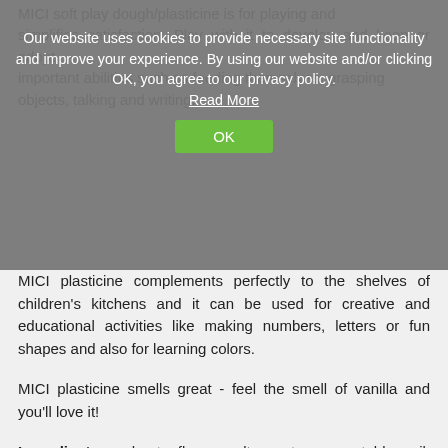MICI soft play dough/plasticine is for playing and simplifies satisfaction. Play with it to develop and keep or adopt important abilities such as feeding themselves, grasping objects, talking and writing.
Our website uses cookies to provide necessary site functionality and improve your experience. By using our website and/or clicking OK, you agree to our privacy policy. Read More OK
MICI plasticine complements perfectly to the shelves of children's kitchens and it can be used for creative and educational activities like making numbers, letters or fun shapes and also for learning colors.
MICI plasticine smells great - feel the smell of vanilla and you'll love it!
Ingredients: wheat flour, salt, water, vegetable oil, monopotassium tartrate (a stabilizer used in confectionery), food coloring and vanillin. Play dough is exclusively made from food ingredients, but it's NOT EDIBLE!
Colors: red, green, brown.